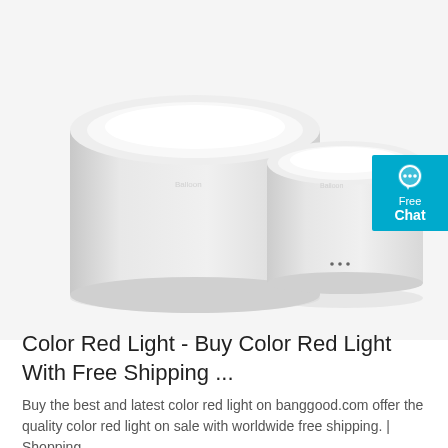[Figure (photo): Two white cylindrical LED ceiling lights (surface mount panel lights) side by side on a white background. The left one is larger and taller, the right one is smaller. Both have white tops and glossy white sides with small LED indicator dots near the bottom. A teal 'Free Chat' badge appears in the upper right corner.]
Color Red Light - Buy Color Red Light With Free Shipping ...
Buy the best and latest color red light on banggood.com offer the quality color red light on sale with worldwide free shipping. | Shopping